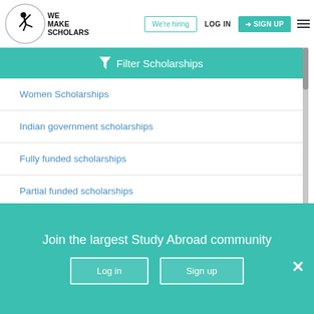[Figure (logo): We Make Scholars logo with gymnast silhouette]
We're hiring | LOG IN | SIGN UP | menu
Filter Scholarships
Women Scholarships
Indian government scholarships
Fully funded scholarships
Partial funded scholarships
Full tuition fee scholarships
Join the largest Study Abroad community
Log in | Sign up